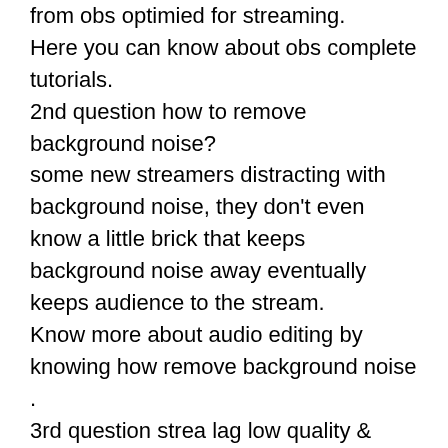from obs optimied for streaming.
Here you can know about obs complete tutorials.
2nd question how to remove background noise?
some new streamers distracting with background noise, they don't even know a little brick that keeps background noise away eventually keeps audience to the stream.
Know more about audio editing by knowing how remove background noise .
3rd question strea lag low quality & buffering & tearing.
Here comes the hardware part.
Network lag =buffering stream:
stream bitrate 4-6mbps for 1080p @60fps
So 6mbps you have to upload every second,
Does you are broadband ISP provider has that speed.
Check your internet upload speed using speed test.
Never stream on 4g mobile network. 5g can support.
Minimum 50mbps required with wired connection, mobile